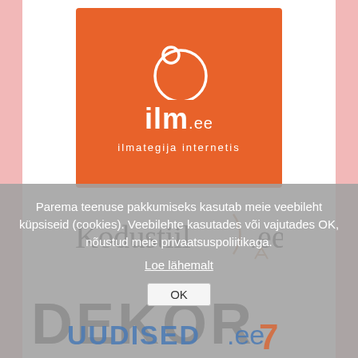[Figure (logo): ilm.ee logo — orange square with white circle/person icon, text 'ilm.ee' and subtitle 'ilmategija internetis']
[Figure (logo): Kodustiil.ee logo — dark text 'Kodustiil' with '.ee' and a chair/easel icon]
[Figure (logo): DEKOR text logo in large bold black letters, partially visible]
Parema teenuse pakkumiseks kasutab meie veebileht küpsiseid (cookies). Veebilehte kasutades või vajutades OK, nõustud meie privaatsuspoliitikaga.
Loe lähemalt
OK
[Figure (logo): uudised.ee logo partially visible at bottom]